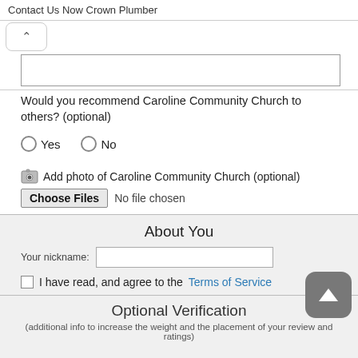Contact Us Now Crown Plumber
Would you recommend Caroline Community Church to others? (optional)
Yes   No
Add photo of Caroline Community Church (optional)
Choose Files  No file chosen
About You
Your nickname:
I have read, and agree to the Terms of Service
Optional Verification
(additional info to increase the weight and the placement of your review and ratings)